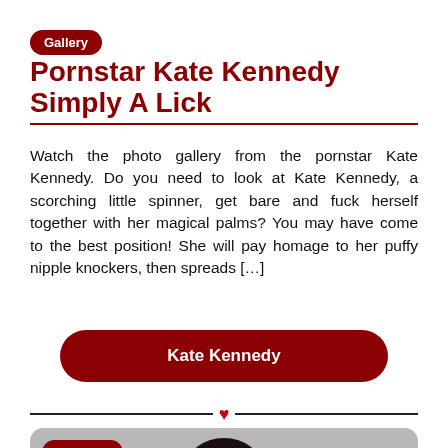Gallery
Pornstar Kate Kennedy Simply A Lick
Watch the photo gallery from the pornstar Kate Kennedy. Do you need to look at Kate Kennedy, a scorching little spinner, get bare and fuck herself together with her magical palms? You may have come to the best position! She will pay homage to her puffy nipple knockers, then spreads […]
Kate Kennedy
[Figure (photo): Photo of a dark-haired woman looking at camera with a Pornstar badge overlay]